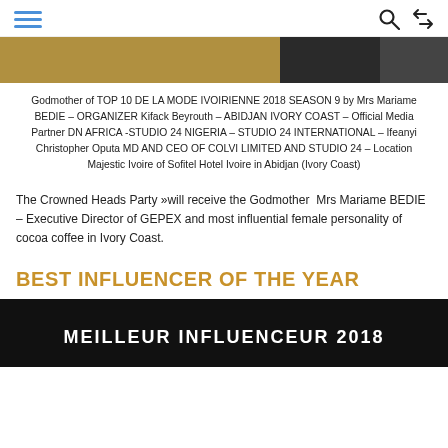☰  🔍  ⇌
[Figure (photo): Partial banner/header image with gold and dark tones]
Godmother of TOP 10 DE LA MODE IVOIRIENNE 2018 SEASON 9 by Mrs Mariame BEDIE – ORGANIZER Kifack Beyrouth – ABIDJAN IVORY COAST – Official Media Partner DN AFRICA -STUDIO 24 NIGERIA – STUDIO 24 INTERNATIONAL – Ifeanyi Christopher Oputa MD AND CEO OF COLVI LIMITED AND STUDIO 24 – Location Majestic Ivoire of Sofitel Hotel Ivoire in Abidjan (Ivory Coast)
The Crowned Heads Party »will receive the Godmother  Mrs Mariame BEDIE – Executive Director of GEPEX and most influential female personality of cocoa coffee in Ivory Coast.
BEST INFLUENCER OF THE YEAR
[Figure (photo): Dark banner with text MEILLEUR INFLUENCEUR 2018 in white]